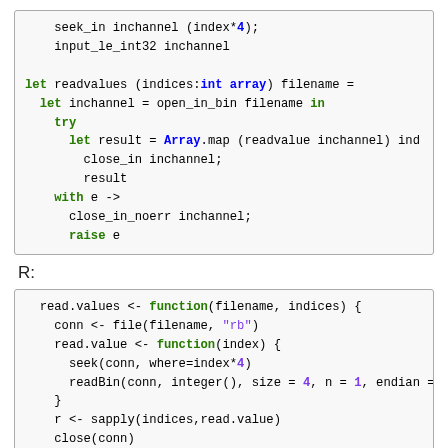[Figure (screenshot): OCaml code block showing seek_in, input_le_int32 calls, and a readvalues function using Array.map with try/with error handling]
R:
[Figure (screenshot): R code block showing read.values function with file connection, seek, readBin for reading 32-bit integers, sapply, close, NA assignment for -2147483648]